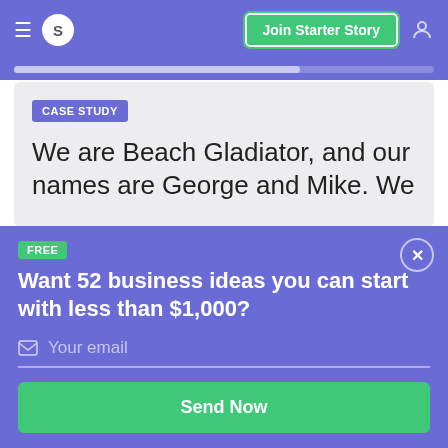Join Starter Story
CASE STUDY
We are Beach Gladiator, and our names are George and Mike. We
FREE
Want 52 business ideas you can start with less than $1,000?
Your email
Send Now